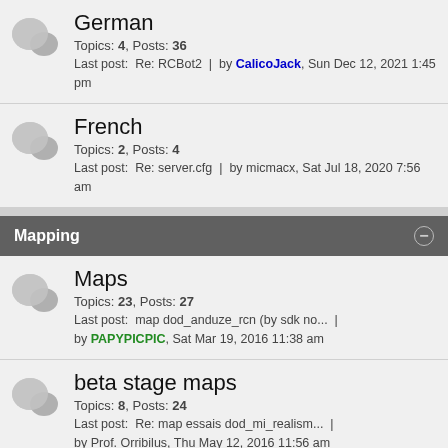German
Topics: 4, Posts: 36
Last post: Re: RCBot2 | by CalicoJack, Sun Dec 12, 2021 1:45 pm
French
Topics: 2, Posts: 4
Last post: Re: server.cfg | by micmacx, Sat Jul 18, 2020 7:56 am
Mapping
Maps
Topics: 23, Posts: 27
Last post: map dod_anduze_rcn (by sdk no... | by PAPYPICPIC, Sat Mar 19, 2016 11:38 am
beta stage maps
Topics: 8, Posts: 24
Last post: Re: map essais dod_mi_realism... | by Prof. Orribilus, Thu May 12, 2016 11:56 am
Prefabs
Topics: 10, Posts: 10
Last post: v2 | by templier22, Thu Jan 21, 2016 2:44 pm